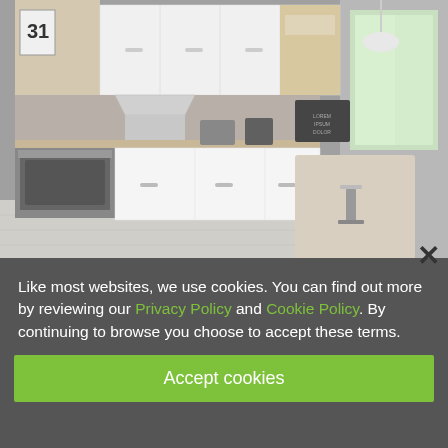[Figure (photo): Modern white kitchen interior with cabinets, oven, countertops, appliances, and a bar stool. Gray walls, light wood flooring, and a window with natural light.]
Like most websites, we use cookies. You can find out more by reviewing our Privacy Policy and Cookie Policy. By continuing to browse you choose to accept these terms.
Accept cookies